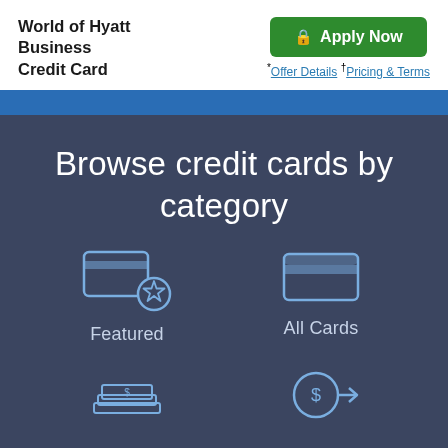World of Hyatt Business Credit Card
Apply Now
*Offer Details †Pricing & Terms
Browse credit cards by category
[Figure (illustration): Credit card with star badge icon representing Featured cards category]
Featured
[Figure (illustration): Plain credit card icon representing All Cards category]
All Cards
[Figure (illustration): Stack of cash/bills with dollar sign icon]
[Figure (illustration): Dollar sign in circle with arrow pointing right, representing transfer or rewards]